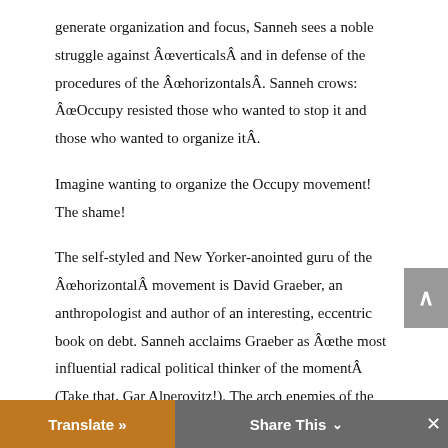generate organization and focus, Sanneh sees a noble struggle against Ã¢â¬ÅverticalsÃ¢â¬ and in defense of the procedures of the Ã¢â¬Åhorizontals.Ã¢â¬ Sanneh crows: Ã¢â¬ÅOccupy resisted those who wanted to stop it and those who wanted to organize itÃ¢â¬.
Imagine wanting to organize the Occupy movement! The shame!
The self-styled and New Yorker-anointed guru of the Ã¢â¬ÅhorizontalÃ¢â¬ movement is David Graeber, an anthropologist and author of an interesting, eccentric book on debt. Sanneh acclaims Graeber as Ã¢â¬Åthe most influential radical political thinker of the momentÃ¢â¬ (Take that, Gar Alperovitz!). The arch enemies of the Ã¢â¬ÅhorizontalÃ¢â¬ movement are Ã¢â¬ÅverticalsÃ¢â¬ represented by Marx,
nd parties, leaders, and demands. Sanneh claims